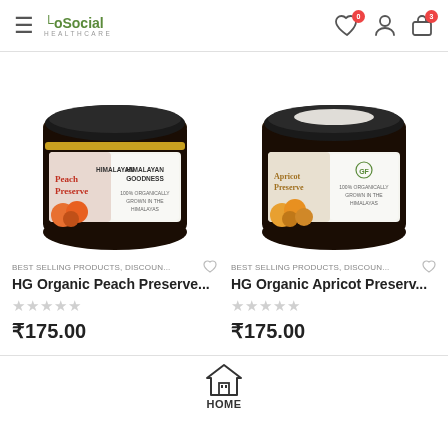GoSocial Healthcare — navigation header with hamburger menu, logo, wishlist (0), account, and cart icons
[Figure (photo): Jar of HG Organic Peach Preserve with Himalayan Goodness label, dark jam visible, peaches on label]
BEST SELLING PRODUCTS, DISCOUN...
HG Organic Peach Preserve...
★★★★★ (empty stars)
₹175.00
[Figure (photo): Jar of HG Organic Apricot Preserve with label showing apricots, dark jam visible]
BEST SELLING PRODUCTS, DISCOUN...
HG Organic Apricot Preserv...
★★★★★ (empty stars)
₹175.00
HOME